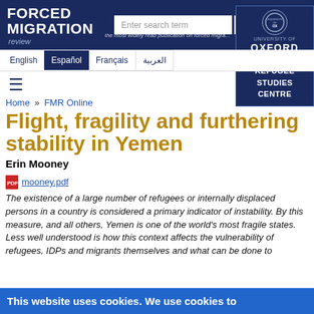FORCED MIGRATION review
the most widely read publication on forced migra...
English | Español | Français | العربية
≡ (hamburger menu)
Home » FMR Online
Flight, fragility and furthering stability in Yemen
Erin Mooney
mooney.pdf
The existence of a large number of refugees or internally displaced persons in a country is considered a primary indicator of instability. By this measure, and all others, Yemen is one of the world's most fragile states. Less well understood is how this context affects the vulnerability of refugees, IDPs and migrants themselves and what can be done to
This website uses cookies. We use cookies to